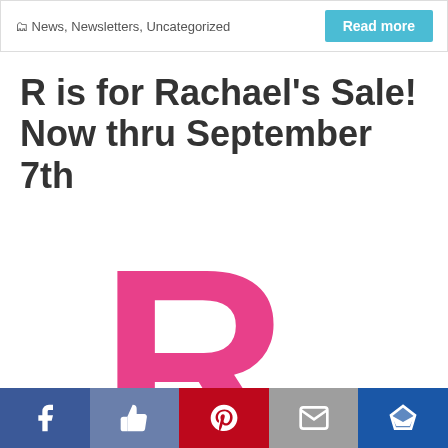News, Newsletters, Uncategorized
R is for Rachael's Sale! Now thru September 7th
[Figure (illustration): Large pink letter R logo on white background]
Social sharing bar with Facebook, Like, Pinterest, Email, and Crown icons